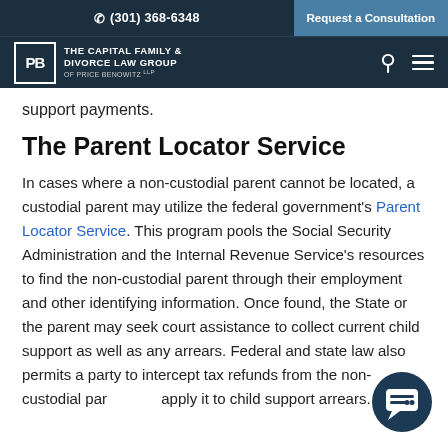(301) 368-6348 | Request a Consultation
THE CAPITAL FAMILY & DIVORCE LAW GROUP OF PRICE BENOWITZ LLP
support payments.
The Parent Locator Service
In cases where a non-custodial parent cannot be located, a custodial parent may utilize the federal government's Parent Locator Service. This program pools the Social Security Administration and the Internal Revenue Service's resources to find the non-custodial parent through their employment and other identifying information. Once found, the State or the parent may seek court assistance to collect current child support as well as any arrears. Federal and state law also permits a party to intercept tax refunds from the non-custodial parent and apply it to child support arrears.
[Figure (other): Chat bubble / messaging widget icon in dark navy blue circle]